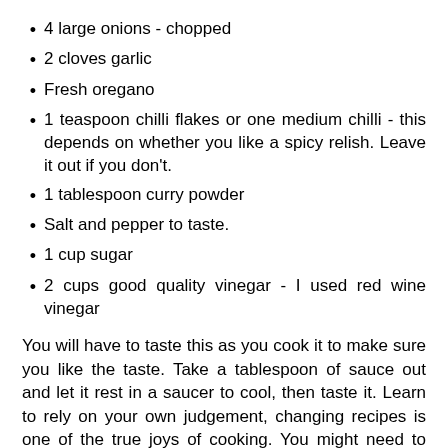4 large onions - chopped
2 cloves garlic
Fresh oregano
1 teaspoon chilli flakes or one medium chilli - this depends on whether you like a spicy relish. Leave it out if you don't.
1 tablespoon curry powder
Salt and pepper to taste.
1 cup sugar
2 cups good quality vinegar - I used red wine vinegar
You will have to taste this as you cook it to make sure you like the taste. Take a tablespoon of sauce out and let it rest in a saucer to cool, then taste it. Learn to rely on your own judgement, changing recipes is one of the true joys of cooking. You might need to add more salt and pepper, more vinegar or more sugar, depending on your taste. You could also add any number of herbs or spices you like. The important parts are the sugar and vinegar, don't change the proportions or the dish becomes the food